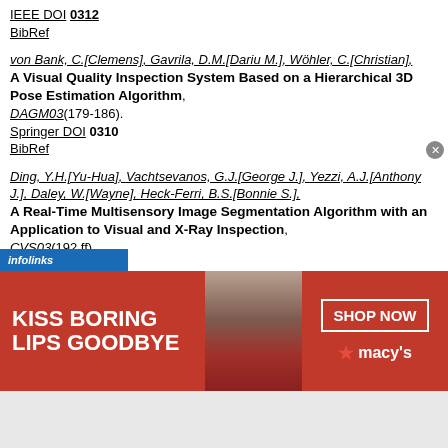IEEE DOI 0312
BibRef
von Bank, C.[Clemens], Gavrila, D.M.[Dariu M.], Wöhler, C.[Christian],
A Visual Quality Inspection System Based on a Hierarchical 3D Pose Estimation Algorithm,
DAGM03(179-186).
Springer DOI 0310
BibRef
Ding, Y.H.[Yu-Hua], Vachtsevanos, G.J.[George J.], Yezzi, A.J.[Anthony J.], Daley, W.[Wayne], Heck-Ferri, B.S.[Bonnie S.],
A Real-Time Multisensory Image Segmentation Algorithm with an Application to Visual and X-Ray Inspection,
CVS03(192 ff).
Springer DOI 0306
[Figure (other): Macy's advertisement banner: 'KISS BORING LIPS GOODBYE' with a woman's face and 'SHOP NOW' button, Macy's logo]